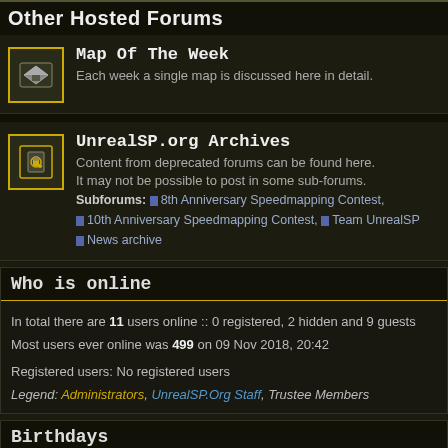Other Hosted Forums
Map Of The Week — Each week a single map is discussed here in detail.
UnrealSP.org Archives — Content from deprecated forums can be found here. It may not be possible to post in some sub-forums. Subforums: 8th Anniversary Speedmapping Contest, 10th Anniversary Speedmapping Contest, Team UnrealSP, News archive
Who is online
In total there are 11 users online :: 0 registered, 2 hidden and 9 guests
Most users ever online was 499 on 09 Nov 2018, 20:42
Registered users: No registered users
Legend: Administrators, UnrealSP.Org Staff, Trustee Members
Birthdays
No birthdays today.